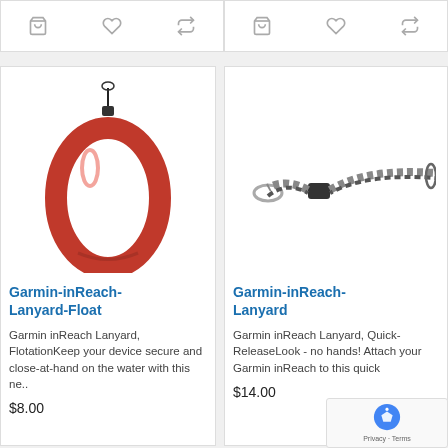[Figure (screenshot): Action icons (cart, heart, compare) for left product]
[Figure (screenshot): Action icons (cart, heart, compare) for right product]
[Figure (photo): Garmin inReach Lanyard Float - red/orange floating loop lanyard]
Garmin-inReach-Lanyard-Float
Garmin inReach Lanyard, FlotationKeep your device secure and close-at-hand on the water with this ne..
$8.00
[Figure (photo): Garmin inReach Lanyard - black and white braided neck lanyard with quick-release]
Garmin-inReach-Lanyard
Garmin inReach Lanyard, Quick-ReleaseLook - no hands! Attach your Garmin inReach to this quick
$14.00